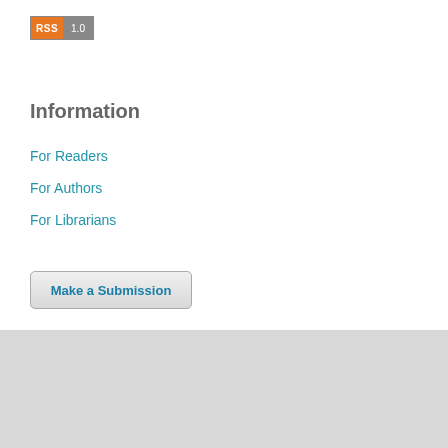[Figure (logo): RSS 1.0 badge with orange RSS label and gray 1.0 label]
Information
For Readers
For Authors
For Librarians
[Figure (other): Make a Submission button]
International Journal of High Dilution Research (IJHDR)
[Figure (logo): Creative Commons BY NC SA license badge]